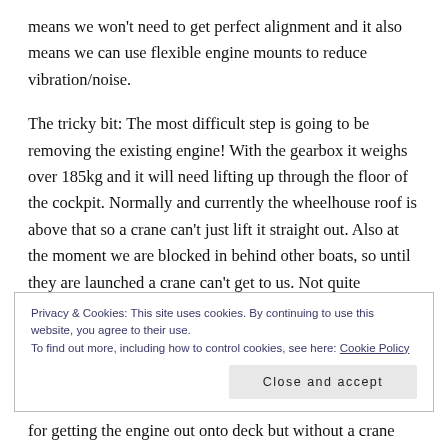means we won't need to get perfect alignment and it also means we can use flexible engine mounts to reduce vibration/noise.
The tricky bit: The most difficult step is going to be removing the existing engine! With the gearbox it weighs over 185kg and it will need lifting up through the floor of the cockpit. Normally and currently the wheelhouse roof is above that so a crane can't just lift it straight out. Also at the moment we are blocked in behind other boats, so until they are launched a crane can't get to us. Not quite
Privacy & Cookies: This site uses cookies. By continuing to use this website, you agree to their use.
To find out more, including how to control cookies, see here: Cookie Policy
Close and accept
for getting the engine out onto deck but without a crane